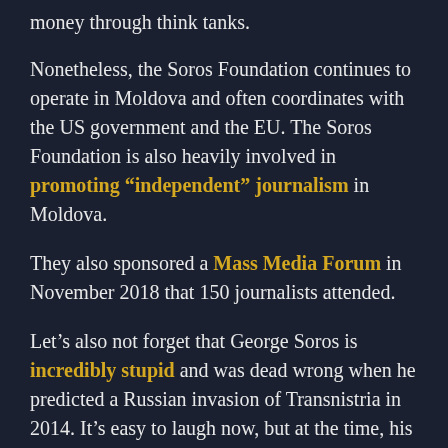money through think tanks.
Nonetheless, the Soros Foundation continues to operate in Moldova and often coordinates with the US government and the EU. The Soros Foundation is also heavily involved in promoting “independent” journalism in Moldova.
They also sponsored a Mass Media Forum in November 2018 that 150 journalists attended.
Let’s also not forget that George Soros is incredibly stupid and was dead wrong when he predicted a Russian invasion of Transnistria in 2014. It’s easy to laugh now, but at the time, his prediction was taken quite seriously.